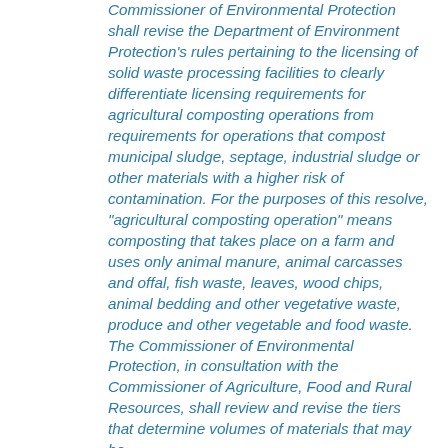Commissioner of Environmental Protection shall revise the Department of Environment Protection's rules pertaining to the licensing of solid waste processing facilities to clearly differentiate licensing requirements for agricultural composting operations from requirements for operations that compost municipal sludge, septage, industrial sludge or other materials with a higher risk of contamination. For the purposes of this resolve, "agricultural composting operation" means composting that takes place on a farm and uses only animal manure, animal carcasses and offal, fish waste, leaves, wood chips, animal bedding and other vegetative waste, produce and other vegetable and food waste. The Commissioner of Environmental Protection, in consultation with the Commissioner of Agriculture, Food and Rural Resources, shall review and revise the tiers that determine volumes of materials that may be